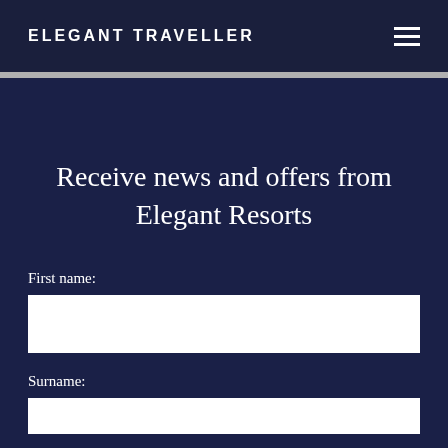ELEGANT TRAVELLER
Receive news and offers from Elegant Resorts
First name:
Surname: